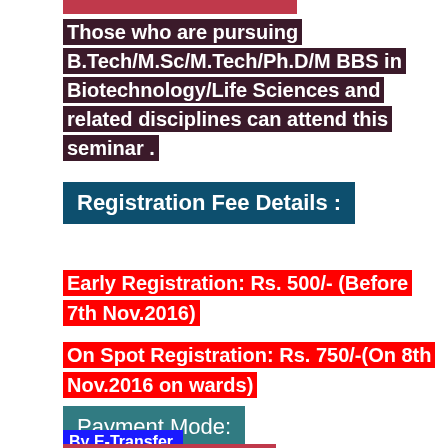Those who are pursuing B.Tech/M.Sc/M.Tech/Ph.D/M BBS in Biotechnology/Life Sciences and related disciplines can attend this seminar .
Registration Fee Details :
Early Registration: Rs. 500/- (Before 7th Nov.2016)
On Spot Registration: Rs. 750/-(On  8th Nov.2016 on wards)
Payment Mode:
By E-Transfer,
Bank Details: MUBD CEMA